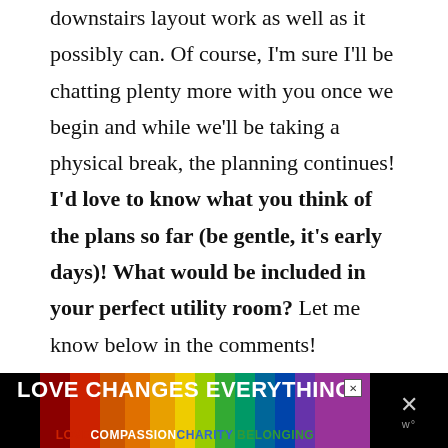downstairs layout work as well as it possibly can. Of course, I'm sure I'll be chatting plenty more with you once we begin and while we'll be taking a physical break, the planning continues! I'd love to know what you think of the plans so far (be gentle, it's early days)! What would be included in your perfect utility room? Let me know below in the comments!
[Figure (infographic): Advertisement banner: 'LOVE CHANGES EVERYTHING' in white bold text on a rainbow-striped background, with subtext 'LOVE COMPASSION CHARITY BELONGING' and a close button.]